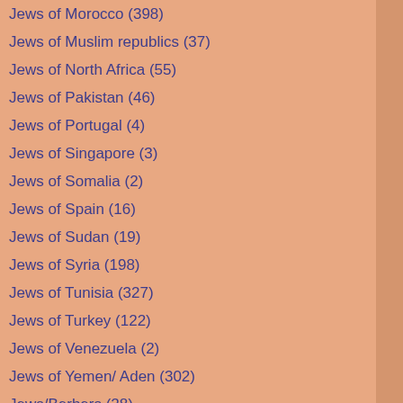Jews of Morocco (398)
Jews of Muslim republics (37)
Jews of North Africa (55)
Jews of Pakistan (46)
Jews of Portugal (4)
Jews of Singapore (3)
Jews of Somalia (2)
Jews of Spain (16)
Jews of Sudan (19)
Jews of Syria (198)
Jews of Tunisia (327)
Jews of Turkey (122)
Jews of Venezuela (2)
Jews of Yemen/ Aden (302)
Jews/Berbers (28)
Judeo-Arab culture (324)
Judeo-Farsi culture (18)
Judeo-Turkish culture (5)